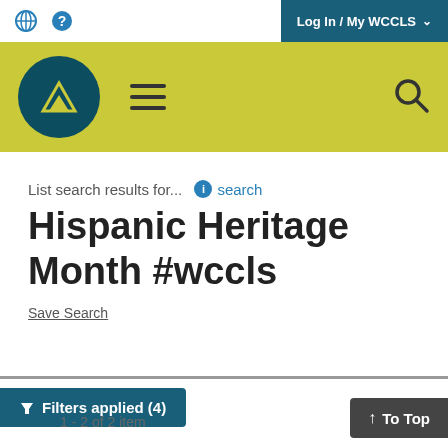Log In / My WCCLS
[Figure (screenshot): WCCLS library website navigation bar with logo, hamburger menu, and search icon on yellow background]
List search results for... search
Hispanic Heritage Month #wccls
Save Search
Filters applied (4)
1 - 2 of 2 items
To Top